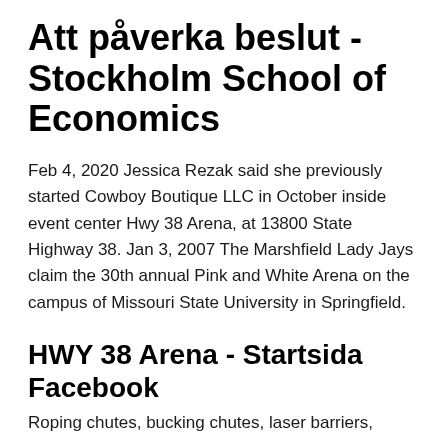Att påverka beslut - Stockholm School of Economics
Feb 4, 2020 Jessica Rezak said she previously started Cowboy Boutique LLC in October inside event center Hwy 38 Arena, at 13800 State Highway 38. Jan 3, 2007 The Marshfield Lady Jays claim the 30th annual Pink and White Arena on the campus of Missouri State University in Springfield.
HWY 38 Arena - Startsida Facebook
Roping chutes, bucking chutes, laser barriers,